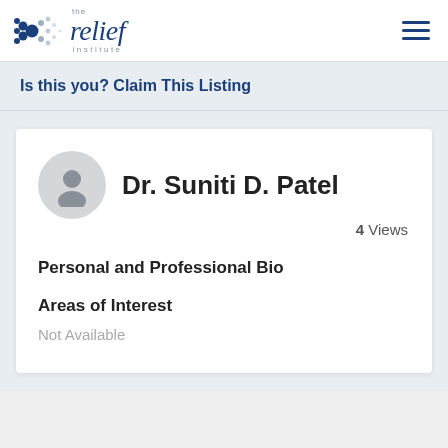[Figure (logo): The Relief Institute logo with dot pattern and stylized italic text]
Is this you? Claim This Listing
Dr. Suniti D. Patel
4 Views
Personal and Professional Bio
Areas of Interest
Not Available